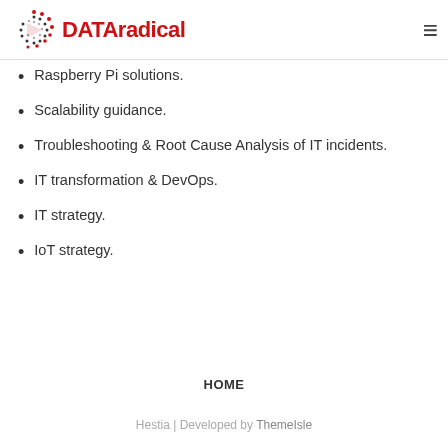DATAradical
Raspberry Pi solutions.
Scalability guidance.
Troubleshooting & Root Cause Analysis of IT incidents.
IT transformation & DevOps.
IT strategy.
IoT strategy.
HOME
Hestia | Developed by ThemeIsle